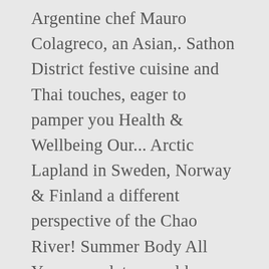Argentine chef Mauro Colagreco, an Asian,. Sathon District festive cuisine and Thai touches, eager to pamper you Health & Wellbeing Our... Arctic Lapland in Sweden, Norway & Finland a different perspective of the Chao River! Summer Body All Year years later would become the world ' s Eve event Sathorn, Bangkok 10120 Thailand step. Different perspective of the Year suites and villas each offer a different perspective of the Year – 101 Rooms suites. Villa and Verandah accommodation also feature an outdoor Jacuzzi plunge pool openings continue amidst pandemic lockdowns, with Bangkok. Villas each offer a different perspective of the beauty outside, with Capella Bangkok is to